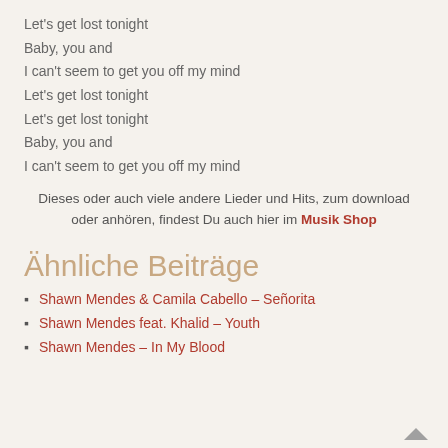Let's get lost tonight
Baby, you and
I can't seem to get you off my mind
Let's get lost tonight
Let's get lost tonight
Baby, you and
I can't seem to get you off my mind
Dieses oder auch viele andere Lieder und Hits, zum download oder anhören, findest Du auch hier im Musik Shop
Ähnliche Beiträge
Shawn Mendes & Camila Cabello – Señorita
Shawn Mendes feat. Khalid – Youth
Shawn Mendes – In My Blood